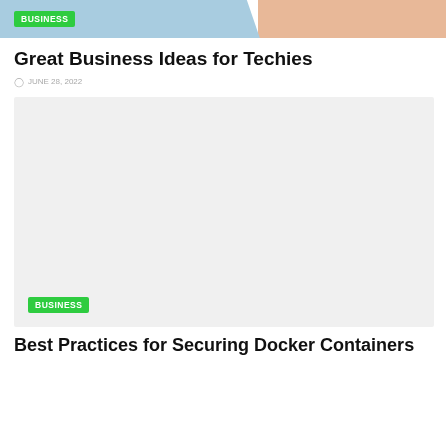BUSINESS
Great Business Ideas for Techies
JUNE 28, 2022
[Figure (photo): Large light gray placeholder image area for article content]
BUSINESS
Best Practices for Securing Docker Containers